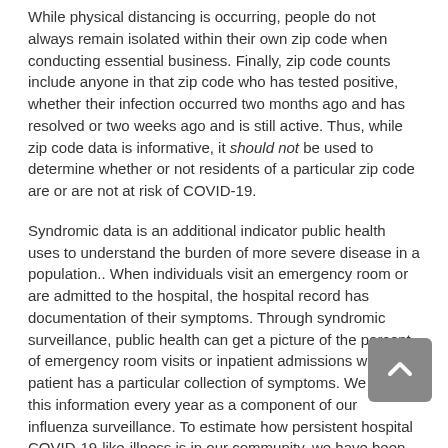While physical distancing is occurring, people do not always remain isolated within their own zip code when conducting essential business. Finally, zip code counts include anyone in that zip code who has tested positive, whether their infection occurred two months ago and has resolved or two weeks ago and is still active. Thus, while zip code data is informative, it should not be used to determine whether or not residents of a particular zip code are or are not at risk of COVID-19.
Syndromic data is an additional indicator public health uses to understand the burden of more severe disease in a population.. When individuals visit an emergency room or are admitted to the hospital, the hospital record has documentation of their symptoms. Through syndromic surveillance, public health can get a picture of the percent of emergency room visits or inpatient admissions where a patient has a particular collection of symptoms. We use this information every year as a component of our influenza surveillance. To estimate how persistent hospital COVID-19-like-illness is in our community, we have been tracking whether the percentage of people at the hospital presenting with symptoms of COVID-19 is increasing or decreasing. This is displayed in the fifth tab on our main dashboard now as well. Scroll to the right to see that final tab.
Healthcare System Data